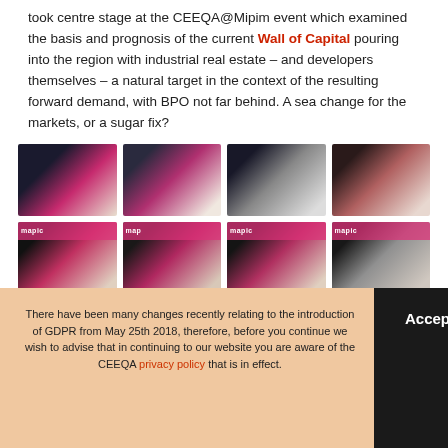took centre stage at the CEEQA@Mipim event which examined the basis and prognosis of the current Wall of Capital pouring into the region with industrial real estate – and developers themselves – a natural target in the context of the resulting forward demand, with BPO not far behind. A sea change for the markets, or a sugar fix?
[Figure (photo): Two rows of four event photos each from CEEQA@Mipim, showing speakers and panellists at a conference with pink MIPIM branding]
There have been many changes recently relating to the introduction of GDPR from May 25th 2018, therefore, before you continue we wish to advise that in continuing to our website you are aware of the CEEQA privacy policy that is in effect.
Accept